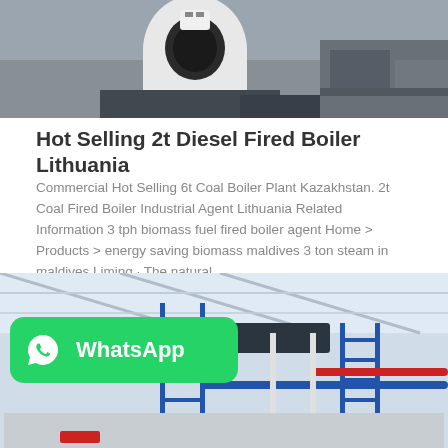[Figure (photo): Industrial boiler equipment in a warehouse setting, showing a white cylindrical boiler unit and machinery on the floor]
Hot Selling 2t Diesel Fired Boiler Lithuania
Commercial Hot Selling 6t Coal Boiler Plant Kazakhstan. 2t Coal Fired Boiler Industrial Agent Lithuania Related Information 3 tph biomass fuel fired boiler agent Home > Products > energy saving biomass maldives 3 ton steam in maldives Liming · The natural…
Get Price
[Figure (photo): Industrial boiler room interior showing large cylindrical boiler tanks, blue metal scaffolding/ladders, pipes including red and blue pipes, white ceiling and roof structure]
[Figure (logo): WhatsApp badge with green background, WhatsApp phone icon and white text reading WhatsApp]